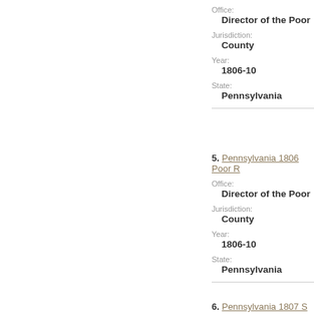Office:
Director of the Poor
Jurisdiction:
County
Year:
1806-10
State:
Pennsylvania
5. Pennsylvania 1806 Poor R...
Office:
Director of the Poor
Jurisdiction:
County
Year:
1806-10
State:
Pennsylvania
6. Pennsylvania 1807 S...